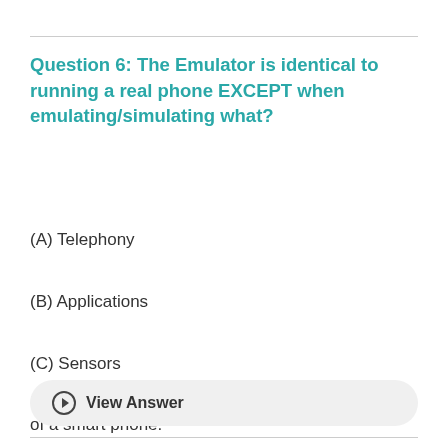Question 6: The Emulator is identical to running a real phone EXCEPT when emulating/simulating what?
(A) Telephony
(B) Applications
(C) Sensors
(D) The emulator can emulate/simulate all aspects of a smart phone.
View Answer